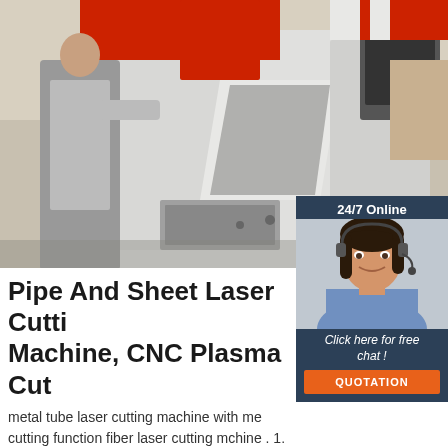[Figure (photo): Industrial laser cutting machine with operators working in a factory setting. Red and white CNC machine visible with control panels.]
[Figure (photo): Customer service widget showing a woman with a headset smiling. Dark blue background with '24/7 Online' header, 'Click here for free chat!' text, and orange QUOTATION button.]
Pipe And Sheet Laser Cutting Machine, CNC Plasma Cut
metal tube laser cutting machine with metal cutting function fiber laser cutting mchine . 1. Product Features - Specialize in cutting metal plates and tubes, improve work efficiency, and time-saving - Metal plate welding machine bed, more durable - Suitable for rectangle tube, round tube, irregular shaped tube, QB tube, D tube . 2